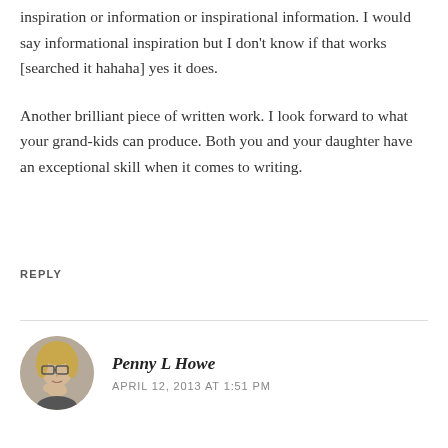inspiration or information or inspirational information. I would say informational inspiration but I don't know if that works [searched it hahaha] yes it does.
Another brilliant piece of written work. I look forward to what your grand-kids can produce. Both you and your daughter have an exceptional skill when it comes to writing.
REPLY
Penny L Howe
APRIL 12, 2013 AT 1:51 PM